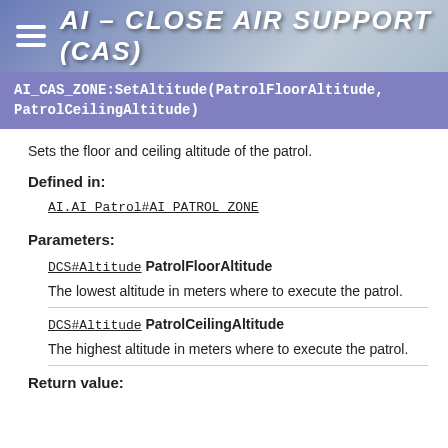AI - CLOSE AIR SUPPORT (CAS)
AI_CAS_ZONE:SetAltitude(PatrolFloorAltitude, PatrolCeilingAltitude)
Sets the floor and ceiling altitude of the patrol.
Defined in:
AI.AI_Patrol#AI_PATROL_ZONE
Parameters:
DCS#Altitude PatrolFloorAltitude
The lowest altitude in meters where to execute the patrol.
DCS#Altitude PatrolCeilingAltitude
The highest altitude in meters where to execute the patrol.
Return value: